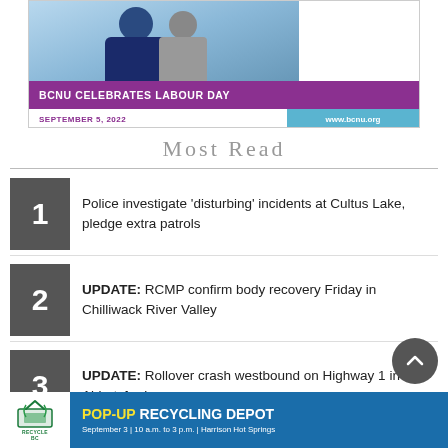[Figure (photo): BCNU advertisement banner with photo of healthcare worker and purple bar. Text: BCNU CELEBRATES LABOUR DAY, SEPTEMBER 5, 2022, www.bcnu.org]
Most Read
1 Police investigate ‘disturbing’ incidents at Cultus Lake, pledge extra patrols
2 UPDATE: RCMP confirm body recovery Friday in Chilliwack River Valley
3 UPDATE: Rollover crash westbound on Highway 1 in Abbotsford
[Figure (infographic): RecycleBC pop-up recycling depot ad. Text: POP-UP RECYCLING DEPOT. September 3 | 10 a.m. to 3 p.m. | Harrison Hot Springs]